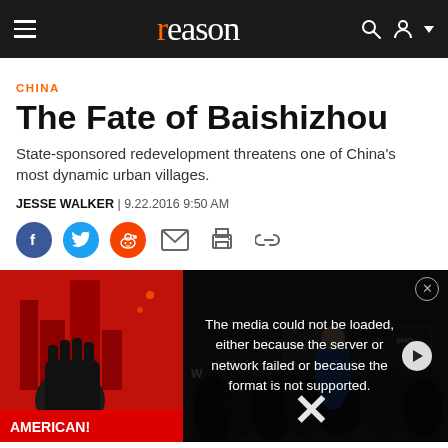reason
CHINA
The Fate of Baishizhou
State-sponsored redevelopment threatens one of China's most dynamic urban villages.
JESSE WALKER | 9.22.2016 9:50 AM
[Figure (screenshot): Social sharing icons row: Facebook, Twitter, Reddit, email, print, link]
[Figure (photo): Left side: red propaganda-style illustration with fist and buildings. Right side: video player overlay showing protest/rally crowd image with error message 'The media could not be loaded, either because the server or network failed or because the format is not supported.' with close X button and play button.]